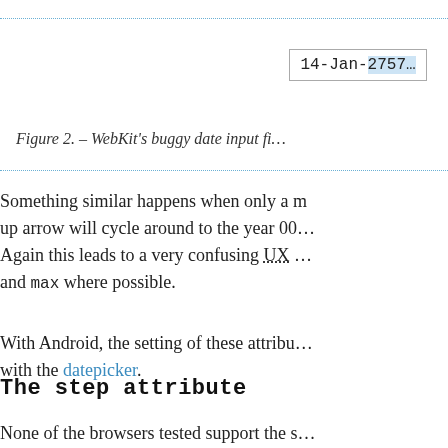[Figure (screenshot): A date input field showing '14-Jan-2757' with the year portion highlighted in blue]
Figure 2. – WebKit's buggy date input fi…
Something similar happens when only a m… up arrow will cycle around to the year 00… Again this leads to a very confusing UX … and max where possible.
With Android, the setting of these attribu… with the datepicker.
The step attribute
None of the browsers tested support the s…